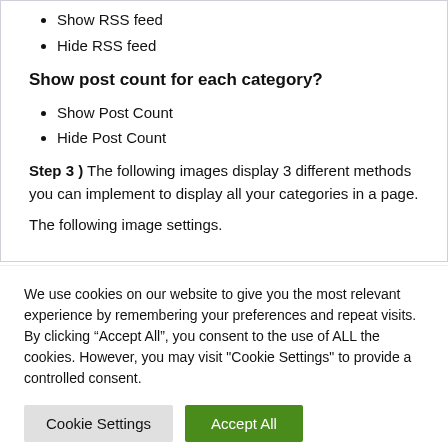Show RSS feed
Hide RSS feed
Show post count for each category?
Show Post Count
Hide Post Count
Step 3 ) The following images display 3 different methods you can implement to display all your categories in a page.
The following image settings.
We use cookies on our website to give you the most relevant experience by remembering your preferences and repeat visits. By clicking “Accept All”, you consent to the use of ALL the cookies. However, you may visit "Cookie Settings" to provide a controlled consent.